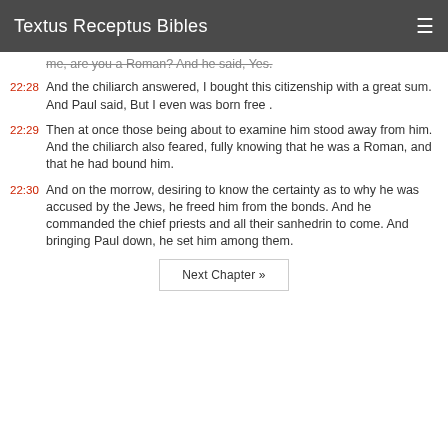Textus Receptus Bibles
me, are you a Roman? And he said, Yes.
22:28 And the chiliarch answered, I bought this citizenship with a great sum. And Paul said, But I even was born free .
22:29 Then at once those being about to examine him stood away from him. And the chiliarch also feared, fully knowing that he was a Roman, and that he had bound him.
22:30 And on the morrow, desiring to know the certainty as to why he was accused by the Jews, he freed him from the bonds. And he commanded the chief priests and all their sanhedrin to come. And bringing Paul down, he set him among them.
Next Chapter »